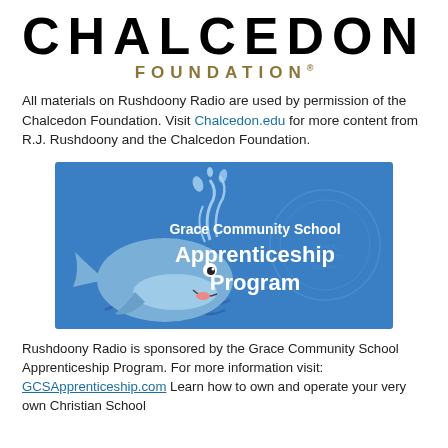[Figure (logo): Chalcedon Foundation logo with large bold CHALCEDON text and FOUNDATION* in gold below]
All materials on Rushdoony Radio are used by permission of the Chalcedon Foundation. Visit Chalcedon.edu for more content from R.J. Rushdoony and the Chalcedon Foundation.
[Figure (illustration): Grace Community School Apprenticeship Program advertisement banner with blue background, cartoon whale illustration, and white text]
Rushdoony Radio is sponsored by the Grace Community School Apprenticeship Program. For more information visit: GCSApprenticeship.com Learn how to own and operate your very own Christian School